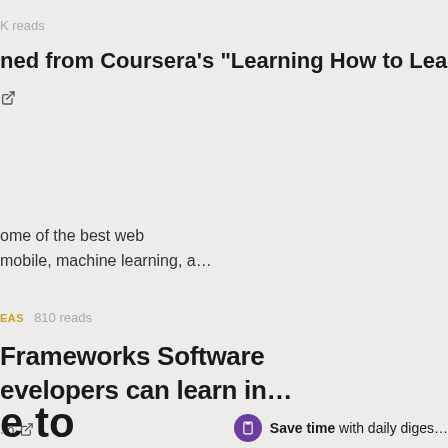K reads
ned from Coursera's "Learning How to Learn"
↗ (external link icon)
ome of the best web
mobile, machine learning, a…
EAS  810 reads
Frameworks Software
Developers can learn in…
.to ↗
e to
Save time with daily diges…